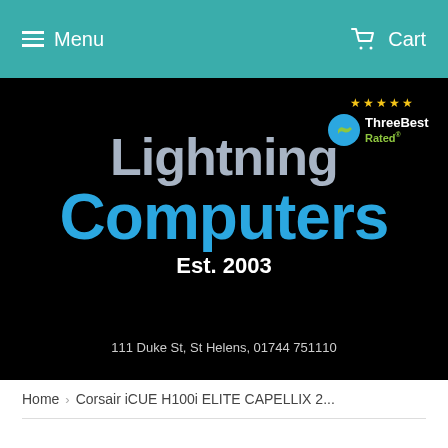≡ Menu   Cart
[Figure (logo): Lightning Computers logo on black background with Three Best Rated badge, Est. 2003, and address 111 Duke St, St Helens, 01744 751110]
Home › Corsair iCUE H100i ELITE CAPELLIX 2...